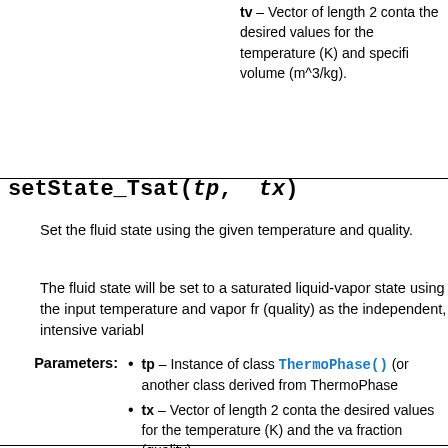tv – Vector of length 2 containing the desired values for the temperature (K) and specific volume (m^3/kg).
setState_Tsat(tp, tx)
Set the fluid state using the given temperature and quality.
The fluid state will be set to a saturated liquid-vapor state using the input temperature and vapor fraction (quality) as the independent, intensive variables.
tp – Instance of class ThermoPhase() (or another class derived from ThermoPhase)
tx – Vector of length 2 containing the desired values for the temperature (K) and the vapor fraction (quality)
setState_HP(tp, ...)